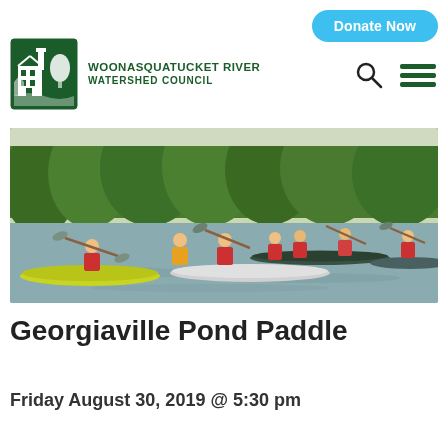[Figure (logo): Woonasquatucket River Watershed Council green logo with mill building illustration]
WOONASQUATUCKET RIVER WATERSHED COUNCIL
Donate Now
[Figure (photo): Group of people kayaking and canoeing on a river surrounded by green trees, wearing red life vests]
Georgiaville Pond Paddle
Friday August 30, 2019 @ 5:30 pm